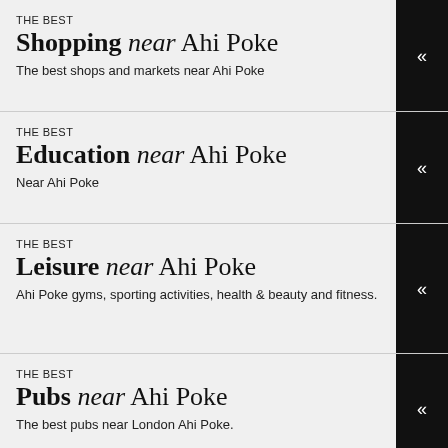THE BEST Shopping near Ahi Poke
The best shops and markets near Ahi Poke
THE BEST Education near Ahi Poke
Near Ahi Poke
THE BEST Leisure near Ahi Poke
Ahi Poke gyms, sporting activities, health & beauty and fitness.
THE BEST Pubs near Ahi Poke
The best pubs near London Ahi Poke.